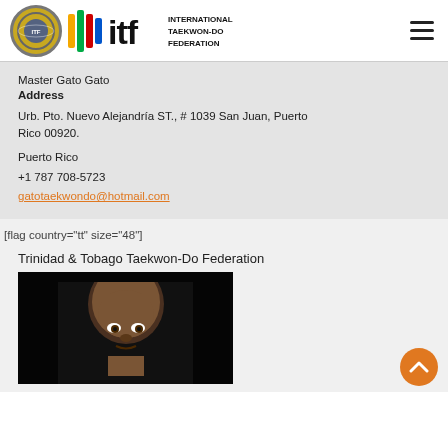International Taekwon-Do Federation logo header with navigation menu
Master Gato Gato
Address
Urb. Pto. Nuevo Alejandría ST., # 1039 San Juan, Puerto Rico 00920.
Puerto Rico
+1 787 708-5723
gatotaekwondo@hotmail.com
[flag country="tt" size="48"]
Trinidad & Tobago Taekwon-Do Federation
[Figure (photo): Portrait photo of a bald man with dark skin, close-up face shot on dark background]